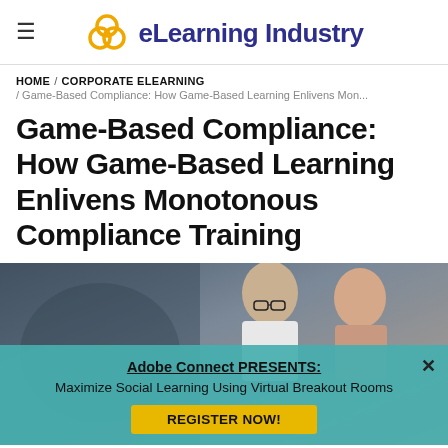eLearning Industry
HOME / CORPORATE ELEARNING
/ Game-Based Compliance: How Game-Based Learning Enlivens Mon...
Game-Based Compliance: How Game-Based Learning Enlivens Monotonous Compliance Training
[Figure (photo): Two people (a man with glasses and a woman) looking down at something together, overlaid with a teal popup advertising Adobe Connect. The popup reads: Adobe Connect PRESENTS: Maximize Social Learning Using Virtual Breakout Rooms, with a REGISTER NOW! button.]